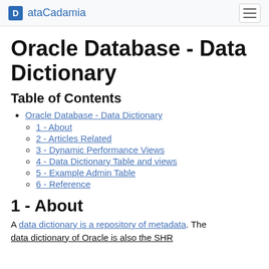ataCadamia
Oracle Database - Data Dictionary
Table of Contents
Oracle Database - Data Dictionary
1 - About
2 - Articles Related
3 - Dynamic Performance Views
4 - Data Dictionary Table and views
5 - Example Admin Table
6 - Reference
1 - About
A data dictionary is a repository of metadata. The data dictionary of Oracle is also the SHR...